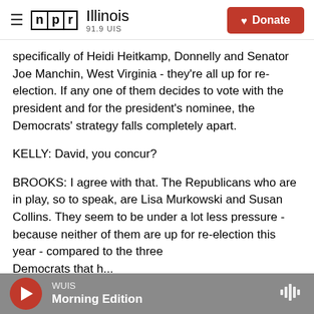NPR Illinois 91.9 UIS | Donate
specifically of Heidi Heitkamp, Donnelly and Senator Joe Manchin, West Virginia - they're all up for re-election. If any one of them decides to vote with the president and for the president's nominee, the Democrats' strategy falls completely apart.
KELLY: David, you concur?
BROOKS: I agree with that. The Republicans who are in play, so to speak, are Lisa Murkowski and Susan Collins. They seem to be under a lot less pressure - because neither of them are up for re-election this year - compared to the three Democrats that have the international...
WUIS | Morning Edition